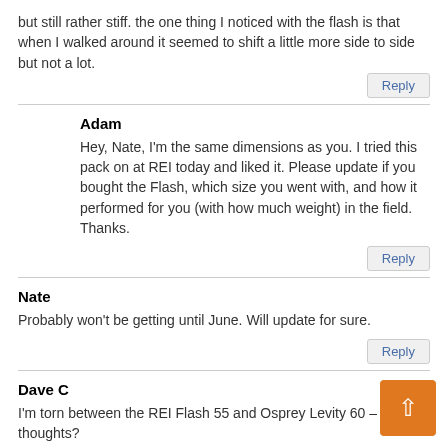but still rather stiff. the one thing I noticed with the flash is that when I walked around it seemed to shift a little more side to side but not a lot.
Reply
Adam
Hey, Nate, I'm the same dimensions as you. I tried this pack on at REI today and liked it. Please update if you bought the Flash, which size you went with, and how it performed for you (with how much weight) in the field. Thanks.
Reply
Nate
Probably won't be getting until June. Will update for sure.
Reply
Dave C
I'm torn between the REI Flash 55 and Osprey Levity 60 – any thoughts?